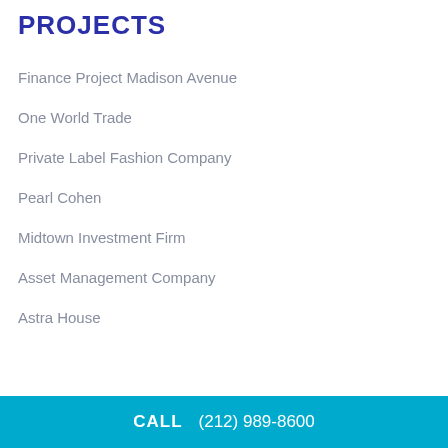PROJECTS
Finance Project Madison Avenue
One World Trade
Private Label Fashion Company
Pearl Cohen
Midtown Investment Firm
Asset Management Company
Astra House
CALL   (212) 989-8600